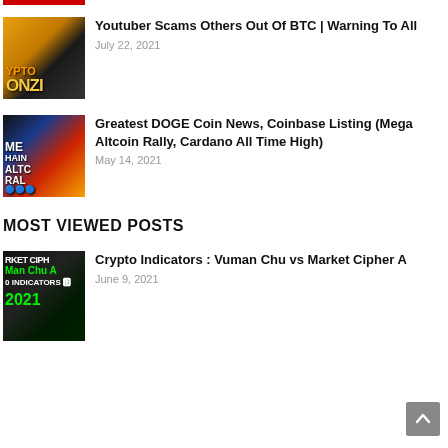[Figure (photo): Thumbnail for Youtuber Scams article showing a person with sunglasses and CRYPTO PONZI text in yellow]
Youtuber Scams Others Out Of BTC | Warning To All
July 22, 2021
[Figure (photo): Thumbnail for Greatest DOGE Coin News article showing MEGA ALTCOIN RALLY text with crypto coin icons]
Greatest DOGE Coin News, Coinbase Listing (Mega Altcoin Rally, Cardano All Time High)
May 14, 2021
MOST VIEWED POSTS
[Figure (photo): Thumbnail for Crypto Indicators article showing RKET CIPHER, Man Chu A, 0 INDICATORS, 2021 in green text on dark background]
Crypto Indicators : Vuman Chu vs Market Cipher A
June 9, 2021